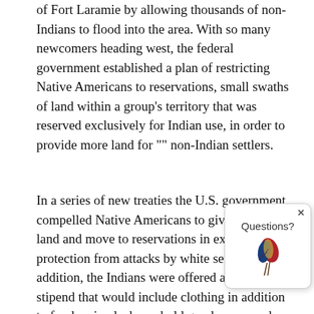of Fort Laramie by allowing thousands of non-Indians to flood into the area. With so many newcomers heading west, the federal government established a plan of restricting Native Americans to reservations, small swaths of land within a group's territory that was reserved exclusively for Indian use, in order to provide more land for "" non-Indian settlers.
In a series of new treaties the U.S. government compelled Native Americans to give up their land and move to reservations in exchange for protection from attacks by white settlers. In addition, the Indians were offered a yearly stipend that would include clothing in addition to food, animals, household goods and equipment. These reservations were created in an effort to clear the way for heightened U.S. growth and administration in the West, as well as to keep the Native Americans divided from the whites in order to lower the